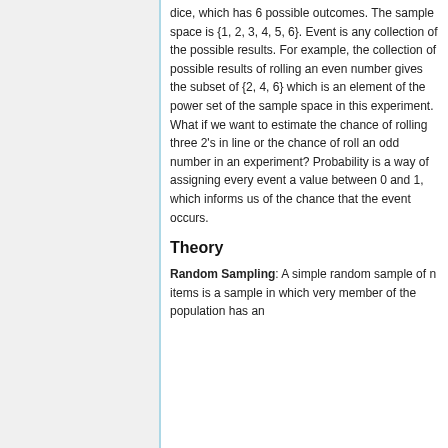dice, which has 6 possible outcomes. The sample space is {1, 2, 3, 4, 5, 6}. Event is any collection of the possible results. For example, the collection of possible results of rolling an even number gives the subset of {2, 4, 6} which is an element of the power set of the sample space in this experiment. What if we want to estimate the chance of rolling three 2's in line or the chance of roll an odd number in an experiment? Probability is a way of assigning every event a value between 0 and 1, which informs us of the chance that the event occurs.
Theory
Random Sampling: A simple random sample of n items is a sample in which very member of the population has an